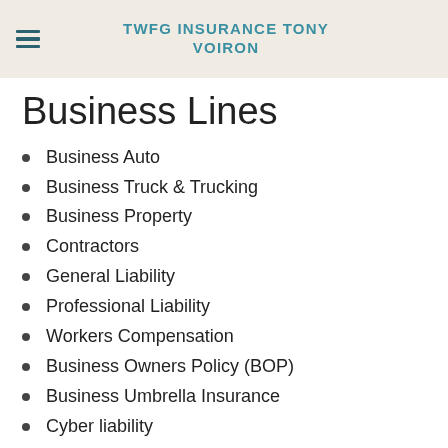TWFG INSURANCE TONY VOIRON
Business Lines
Business Auto
Business Truck & Trucking
Business Property
Contractors
General Liability
Professional Liability
Workers Compensation
Business Owners Policy (BOP)
Business Umbrella Insurance
Cyber liability